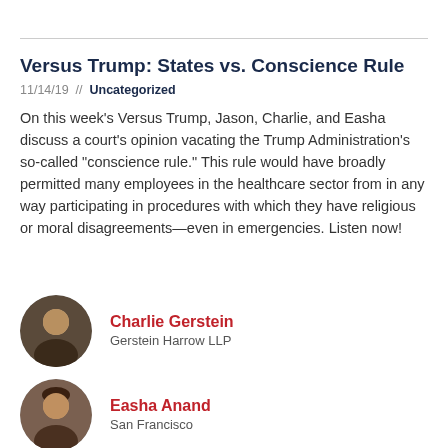Versus Trump: States vs. Conscience Rule
11/14/19  //  Uncategorized
On this week's Versus Trump, Jason, Charlie, and Easha discuss a court's opinion vacating the Trump Administration's so-called "conscience rule." This rule would have broadly permitted many employees in the healthcare sector from in any way participating in procedures with which they have religious or moral disagreements—even in emergencies. Listen now!
Charlie Gerstein
Gerstein Harrow LLP
Easha Anand
San Francisco
Jason Harrow
Gerstein Harrow LLP